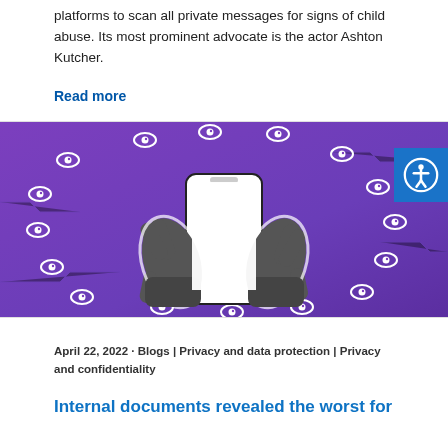platforms to scan all private messages for signs of child abuse. Its most prominent advocate is the actor Ashton Kutcher.
Read more
[Figure (illustration): Purple background with white eye icons arranged in a circular pattern, and two hands holding a smartphone with a white/blank screen in the center. An accessibility button (person in circle icon) appears in the top-right corner.]
April 22, 2022 · Blogs | Privacy and data protection | Privacy and confidentiality
Internal documents revealed the worst for